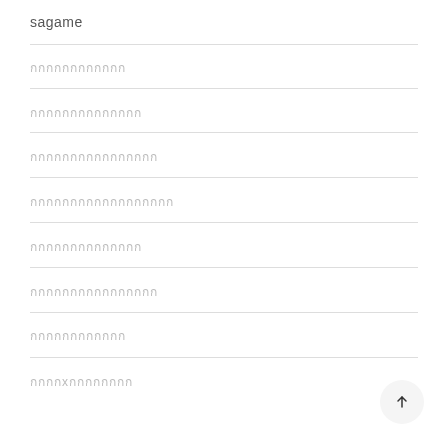sagame
กกกกกกกกกกกก
กกกกกกกกกกกกกก
กกกกกกกกกกกกกกกก
กกกกกกกกกกกกกกกกกก
กกกกกกกกกกกกกก
กกกกกกกกกกกกกกกก
กกกกกกกกกกกก
กกกกxกกกกกกกก